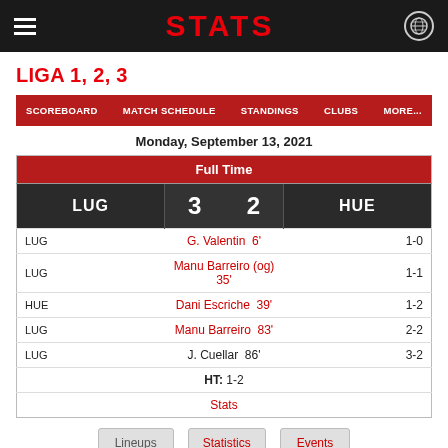STATS
LIGA 1, 2, 3
SCOREBOARD  MATCH SCHEDULE  STANDINGS  CLUBS  MORE...
Monday, September 13, 2021
|  | LUG | 3 | 2 | HUE |
| --- | --- | --- | --- | --- |
| LUG | G. Valentin  6' |  |  | 1-0 |
| LUG | Manu Barreiro (og) 35' |  |  | 1-1 |
| HUE | Dani Escriche  39' |  |  | 1-2 |
| LUG | Manu Barreiro  83' |  |  | 2-2 |
| LUG | J. Cuellar  86' |  |  | 3-2 |
| HT: 1-2 |  |  |  |  |
| Stats |  |  |  |  |
Lineups  Statistics  Events